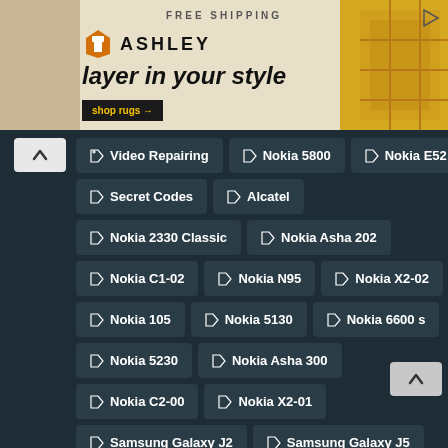[Figure (infographic): Ashley Furniture advertisement banner with text 'FREE SHIPPING', 'ASHLEY', 'layer in your style', and a 'shop rugs →' button. Yellow/tan background with rug imagery.]
Video Repairing
Nokia 5800
Nokia E52
Secret Codes
Alcatel
Nokia 2330 Classic
Nokia Asha 202
Nokia C1-02
Nokia N95
Nokia X2-02
Nokia 105
Nokia 5130
Nokia 6600 s
Nokia 5230
Nokia Asha 300
Nokia C2-00
Nokia X2-01
Samsung Galaxy J2
Samsung Galaxy J5
Samsung Galaxy Note II N7100
Asus
LG G3 D855
Nokia 2320 Classic
Nokia 2323 Classic
Nokia 2700 Classic